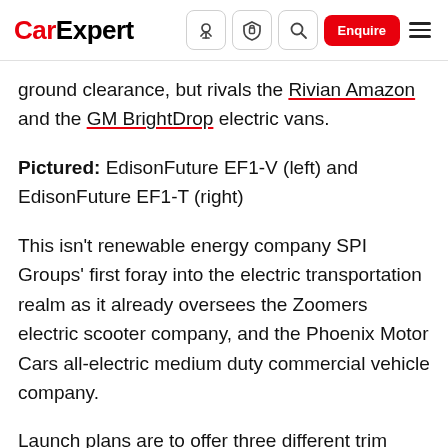CarExpert | navigation icons: plant/tree icon, shield icon, search icon, Enquire button, menu icon
ground clearance, but rivals the Rivian Amazon and the GM BrightDrop electric vans.
Pictured: EdisonFuture EF1-V (left) and EdisonFuture EF1-T (right)
This isn't renewable energy company SPI Groups' first foray into the electric transportation realm as it already oversees the Zoomers electric scooter company, and the Phoenix Motor Cars all-electric medium duty commercial vehicle company.
Launch plans are to offer three different trim levels of